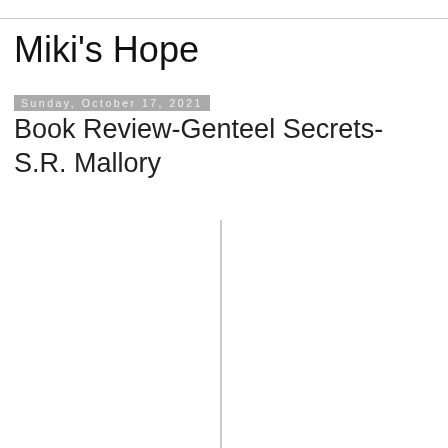Miki's Hope
Sunday, October 17, 2021
Book Review-Genteel Secrets-S.R. Mallory